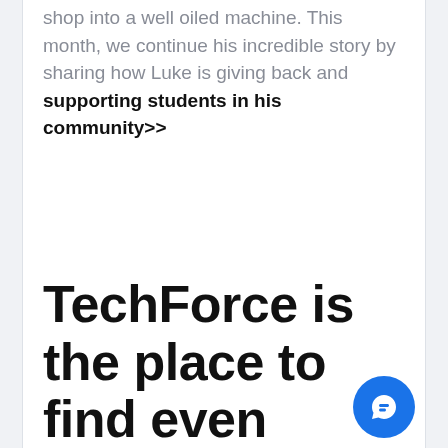shop into a well oiled machine. This month, we continue his incredible story by sharing how Luke is giving back and supporting students in his community>>
TechForce is the place to find even